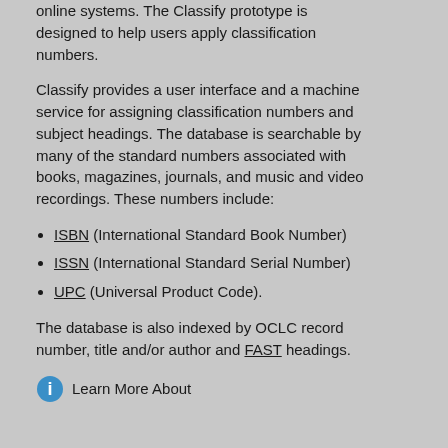online systems. The Classify prototype is designed to help users apply classification numbers.
Classify provides a user interface and a machine service for assigning classification numbers and subject headings. The database is searchable by many of the standard numbers associated with books, magazines, journals, and music and video recordings. These numbers include:
ISBN (International Standard Book Number)
ISSN (International Standard Serial Number)
UPC (Universal Product Code).
The database is also indexed by OCLC record number, title and/or author and FAST headings.
Learn More About